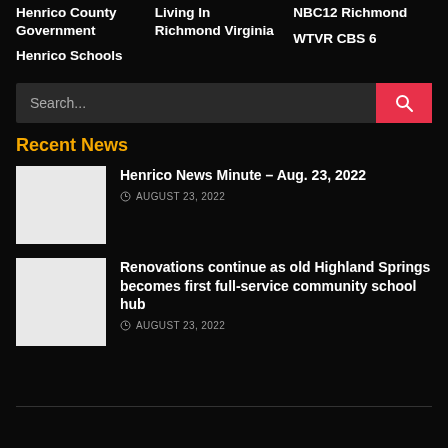Henrico County Government | Henrico Schools | Living In Richmond Virginia | NBC12 Richmond | WTVR CBS 6
Search...
Recent News
Henrico News Minute – Aug. 23, 2022
AUGUST 23, 2022
Renovations continue as old Highland Springs becomes first full-service community school hub
AUGUST 23, 2022